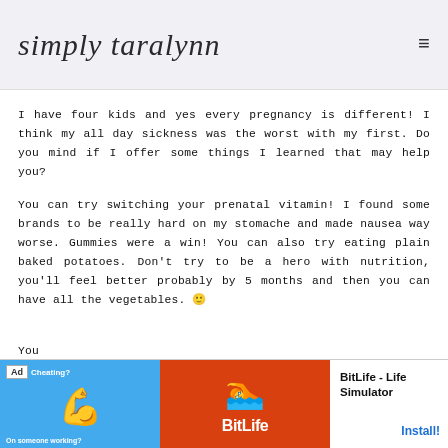simply taralynn
I have four kids and yes every pregnancy is different! I think my all day sickness was the worst with my first. Do you mind if I offer some things I learned that may help you?
You can try switching your prenatal vitamin! I found some brands to be really hard on my stomache and made nausea way worse. Gummies were a win! You can also try eating plain baked potatoes. Don't try to be a hero with nutrition, you'll feel better probably by 5 months and then you can have all the vegetables. 🙂
Yo
[Figure (screenshot): Advertisement banner for BitLife - Life Simulator app with 'Ad' label, colorful game imagery on the left and Install button on the right]